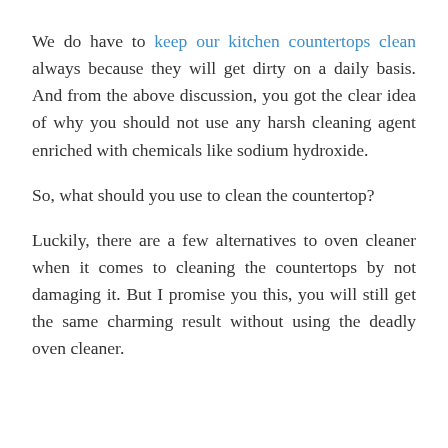We do have to keep our kitchen countertops clean always because they will get dirty on a daily basis. And from the above discussion, you got the clear idea of why you should not use any harsh cleaning agent enriched with chemicals like sodium hydroxide.
So, what should you use to clean the countertop?
Luckily, there are a few alternatives to oven cleaner when it comes to cleaning the countertops by not damaging it. But I promise you this, you will still get the same charming result without using the deadly oven cleaner.